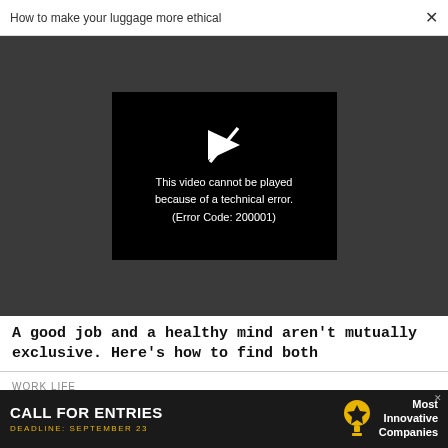How to make your luggage more ethical  ×
[Figure (screenshot): Video player showing error: 'This video cannot be played because of a technical error. (Error Code: 200001)' on dark background with play icon]
A good job and a healthy mind aren't mutually exclusive. Here's how to find both
WORK LIFE
Why a 'skip-level meeting' is key to building your career
[Figure (infographic): Advertisement banner: CALL FOR ENTRIES, DEADLINE: SEPTEMBER 23, Most Innovative Companies]